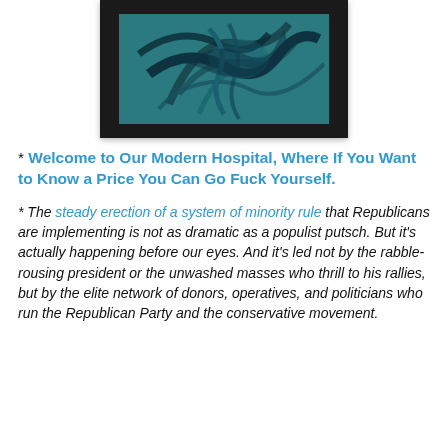[Figure (photo): A framed artwork in a black frame. The art piece shows a teal/dark teal colored image with what appears to be a bird or winged figure, placed on a white background.]
* Welcome to Our Modern Hospital, Where If You Want to Know a Price You Can Go Fuck Yourself.
* The steady erection of a system of minority rule that Republicans are implementing is not as dramatic as a populist putsch. But it's actually happening before our eyes. And it's led not by the rabble-rousing president or the unwashed masses who thrill to his rallies, but by the elite network of donors, operatives, and politicians who run the Republican Party and the conservative movement.